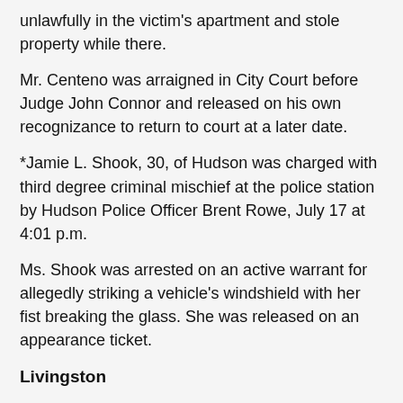unlawfully in the victim's apartment and stole property while there.
Mr. Centeno was arraigned in City Court before Judge John Connor and released on his own recognizance to return to court at a later date.
*Jamie L. Shook, 30, of Hudson was charged with third degree criminal mischief at the police station by Hudson Police Officer Brent Rowe, July 17 at 4:01 p.m.
Ms. Shook was arrested on an active warrant for allegedly striking a vehicle's windshield with her fist breaking the glass. She was released on an appearance ticket.
Livingston
Bruce Feller, 54, of Livingston was charged with second degree burglary, second degree criminal tampering and theft of services by State Police at Livingston, July 24.
Troopers responded to a 911 call made by Mr. Feller who reported to County 911 that he was engaged in an argument with his neighbors, July 24.
An investigation by State Police traced the 911 call made by Mr. Feller back to his neighbors' phone line. Mr. Feller